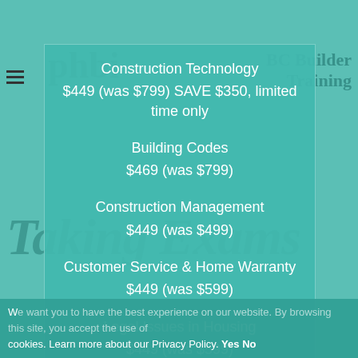[Figure (screenshot): Website screenshot showing a teal overlay panel over a BC Builder Training website background, listing course names and prices]
Construction Technology
$449 (was $799) SAVE $350, limited time only
Building Codes
$469 (was $799)
Construction Management
$449 (was $499)
Customer Service & Home Warranty
$449 (was $599)
Legal Issues in Housing
$449 (was $599)
We want you to have the best experience on our website. By browsing this site, you accept the use of cookies. Learn more about our Privacy Policy. Yes No